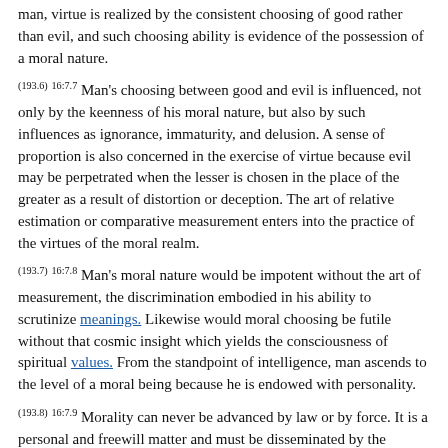man, virtue is realized by the consistent choosing of good rather than evil, and such choosing ability is evidence of the possession of a moral nature.
(193.6) 16:7.7 Man's choosing between good and evil is influenced, not only by the keenness of his moral nature, but also by such influences as ignorance, immaturity, and delusion. A sense of proportion is also concerned in the exercise of virtue because evil may be perpetrated when the lesser is chosen in the place of the greater as a result of distortion or deception. The art of relative estimation or comparative measurement enters into the practice of the virtues of the moral realm.
(193.7) 16:7.8 Man's moral nature would be impotent without the art of measurement, the discrimination embodied in his ability to scrutinize meanings. Likewise would moral choosing be futile without that cosmic insight which yields the consciousness of spiritual values. From the standpoint of intelligence, man ascends to the level of a moral being because he is endowed with personality.
(193.8) 16:7.9 Morality can never be advanced by law or by force. It is a personal and freewill matter and must be disseminated by the contagion of the contact of morally fragrant persons with those who are less morally responsive, but who are also in some measure